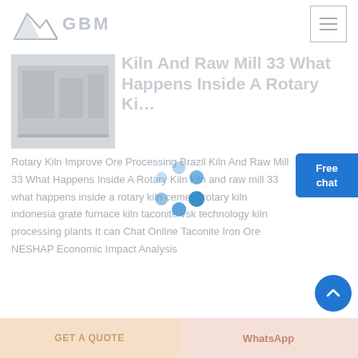[Figure (logo): GBM logo with mountain/arrow icon in light gray and text 'GBM']
[Figure (photo): Industrial machinery interior photo, grayscale, faded]
Kiln And Raw Mill 33 What Happens Inside A Rotary Ki…
[Figure (infographic): Loading spinner animation overlay]
Rotary Kiln Improve Ore Processing Brazil Kiln And Raw Mill 33 What Happens Inside A Rotary Kiln kiln and raw mill 33 what happens inside a rotary kiln cement rotary kiln indonesia grate furnace kiln taconite vsk technology kiln processing plants It can Chat Online Taconite Iron Ore NESHAP Economic Impact Analysis
[Figure (infographic): Free chat button bubble, blue background]
[Figure (infographic): Back to top circular blue button with upward arrow]